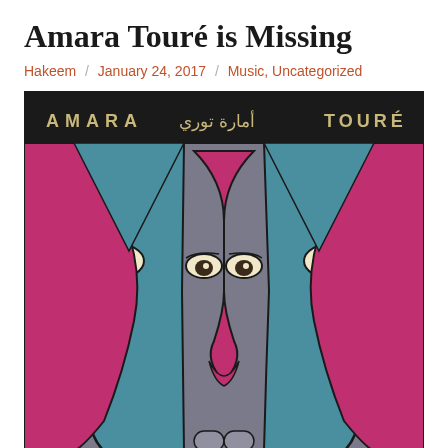Amara Touré is Missing
Hakeem / January 24, 2017 / Music, Uncategorized
[Figure (illustration): Album cover art for Amara Touré showing stylized mirrored faces in pink/magenta, grey, and teal colors with Arabic text 'أمارة توري' and Latin text 'AMARA TOURÉ' on a dark banner at the top.]